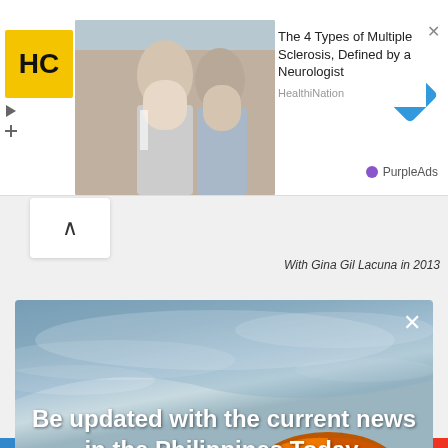[Figure (screenshot): Advertisement banner with HC logo, photo of two women, article title about Multiple Sclerosis from HealthiNation, PurpleAds label, blue diamond navigation button, and close X button]
With Gina Gil Lacuna in 2013
[Figure (screenshot): Modal popup overlay on beach background photo with sky and orange umbrella. Contains text 'Be updated with the current news in the Philippines Today.' and two buttons: 'Yes please!' and 'Maybe next time'. Close X button in top right. AddThis branding in bottom right.]